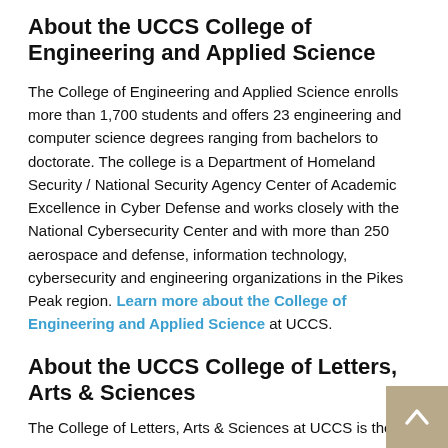About the UCCS College of Engineering and Applied Science
The College of Engineering and Applied Science enrolls more than 1,700 students and offers 23 engineering and computer science degrees ranging from bachelors to doctorate. The college is a Department of Homeland Security / National Security Agency Center of Academic Excellence in Cyber Defense and works closely with the National Cybersecurity Center and with more than 250 aerospace and defense, information technology, cybersecurity and engineering organizations in the Pikes Peak region. Learn more about the College of Engineering and Applied Science at UCCS.
About the UCCS College of Letters, Arts & Sciences
The College of Letters, Arts & Sciences at UCCS is the...